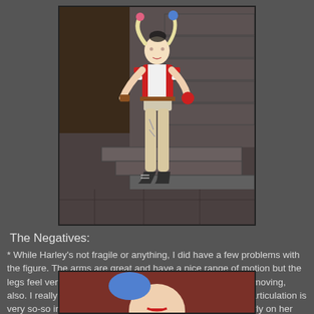[Figure (photo): Action figure of Harley Quinn posed in a dynamic stance against a stone staircase background. The figure has blonde pigtails with blue and pink tips, wears a red and white jacket with shorts and patterned leggings, and holds a red object in one hand.]
The Negatives:
* While Harley's not fragile or anything, I did have a few problems with the figure. The arms are great and have a nice range of motion but the legs feel very stiff. It took forever to get Harley's right knee moving, also. I really thought the joint was fused together. Harley's articulation is very so-so in terms of the range of motion we get, particularly on her ankles. Due to the lack of ankle movement and her high-heeled shoes, she's very difficult to pose.
[Figure (photo): Partial photo of the Harley Quinn figure showing close-up details, visible at the bottom of the page.]